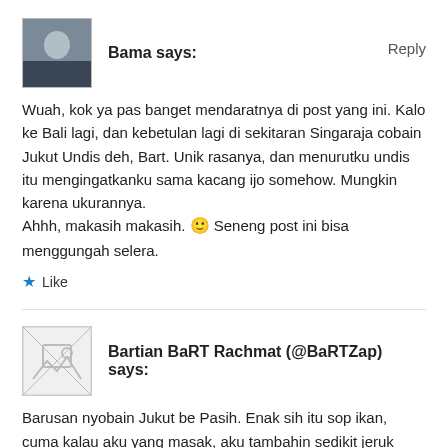[Figure (photo): Avatar photo of user Bama, showing a dark-jacketed person against a light background]
Bama says:
Reply
Wuah, kok ya pas banget mendaratnya di post yang ini. Kalo ke Bali lagi, dan kebetulan lagi di sekitaran Singaraja cobain Jukut Undis deh, Bart. Unik rasanya, dan menurutku undis itu mengingatkanku sama kacang ijo somehow. Mungkin karena ukurannya.
Ahhh, makasih makasih. 🙂 Seneng post ini bisa menggungah selera.
★ Like
[Figure (illustration): Placeholder avatar image (broken image icon) for user Bartian BaRT Rachmat]
Bartian BaRT Rachmat (@BaRTZap) says:
Barusan nyobain Jukut be Pasih. Enak sih itu sop ikan, cuma kalau aku yang masak, aku tambahin sedikit jeruk lemon/nipis,